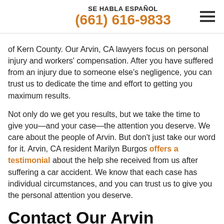SE HABLA ESPAÑOL
(661) 616-9833
of Kern County. Our Arvin, CA lawyers focus on personal injury and workers' compensation. After you have suffered from an injury due to someone else's negligence, you can trust us to dedicate the time and effort to getting you maximum results.
Not only do we get you results, but we take the time to give you—and your case—the attention you deserve. We care about the people of Arvin. But don't just take our word for it. Arvin, CA resident Marilyn Burgos offers a testimonial about the help she received from us after suffering a car accident. We know that each case has individual circumstances, and you can trust us to give you the personal attention you deserve.
Contact Our Arvin Lawyers at Chain | Cohn | Clark